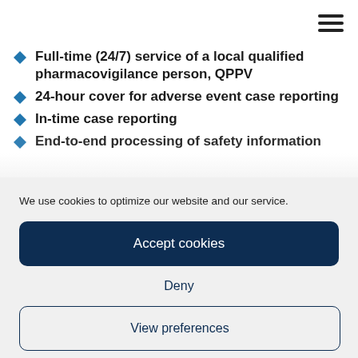Full-time (24/7) service of a local qualified pharmacovigilance person, QPPV
24-hour cover for adverse event case reporting
In-time case reporting
End-to-end processing of safety information
We use cookies to optimize our website and our service.
Accept cookies
Deny
View preferences
Privacy Policy  Privacy Policy